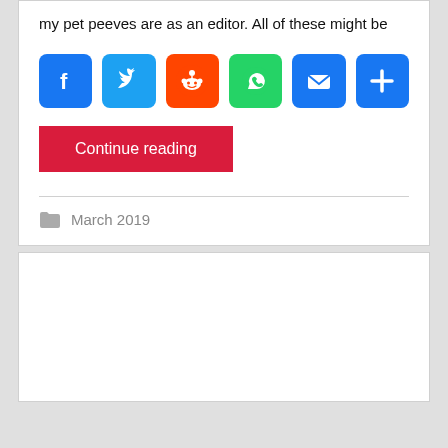my pet peeves are as an editor. All of these might be
[Figure (infographic): Social share buttons: Facebook (blue), Twitter (light blue), Reddit (orange), WhatsApp (green), Email (blue), Share/Plus (blue)]
Continue reading
March 2019